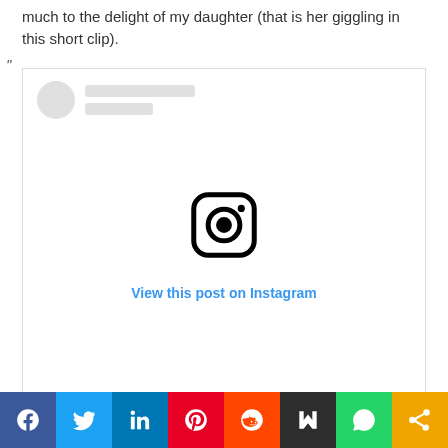much to the delight of my daughter (that is her giggling in this short clip).
[Figure (screenshot): An embedded Instagram post placeholder showing a profile avatar placeholder, two grey lines for username, the Instagram camera logo icon in the center, and a blue link 'View this post on Instagram']
[Figure (infographic): Social sharing bar with icons for Facebook, Twitter, LinkedIn, Pinterest, Reddit, Mix, WhatsApp, and Share]